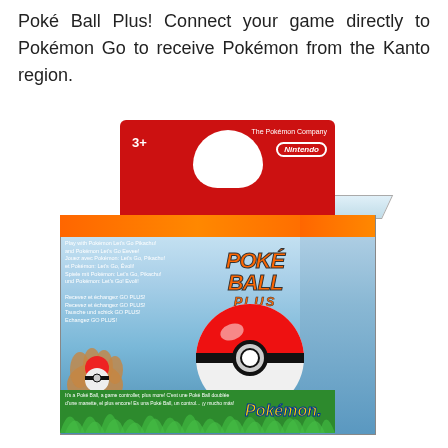Poké Ball Plus! Connect your game directly to Pokémon Go to receive Pokémon from the Kanto region.
[Figure (photo): Product photo of the Poké Ball Plus accessory in its retail box. The box has a red card header with a hanger hole, '3+' age rating, The Pokémon Company and Nintendo branding. The main box body shows a blue sky with the Poké Ball Plus logo in orange italic text, a large Poké Ball graphic sitting on green grass. Left side shows multilingual text and a hand holding the device. Bottom shows multilingual tagline and Pokémon logo.]